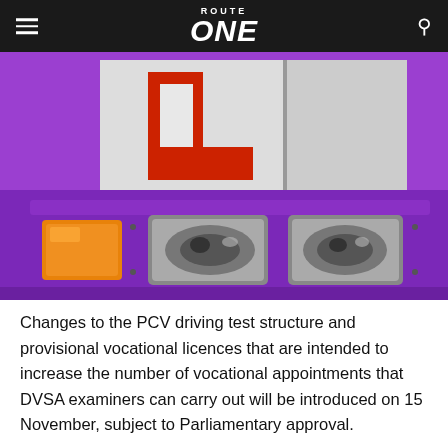ROUTE ONE
[Figure (photo): Front of a purple bus or coach with an L-plate (learner driver plate) showing a red L on white background, with headlights and indicator visible]
Changes to the PCV driving test structure and provisional vocational licences that are intended to increase the number of vocational appointments that DVSA examiners can carry out will be introduced on 15 November, subject to Parliamentary approval.